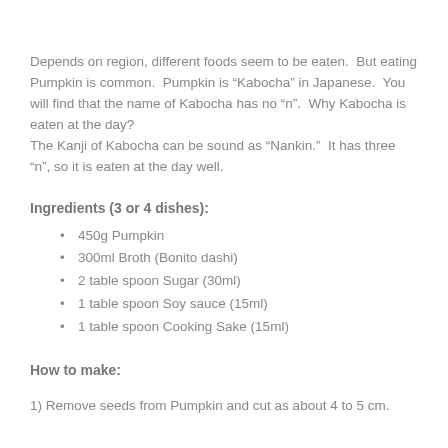Depends on region, different foods seem to be eaten.  But eating Pumpkin is common.  Pumpkin is “Kabocha” in Japanese.  You will find that the name of Kabocha has no “n”.  Why Kabocha is eaten at the day?
The Kanji of Kabocha can be sound as “Nankin.”  It has three “n”, so it is eaten at the day well.
Ingredients (3 or 4 dishes):
450g Pumpkin
300ml Broth (Bonito dashi)
2 table spoon Sugar (30ml)
1 table spoon Soy sauce (15ml)
1 table spoon Cooking Sake (15ml)
How to make:
1) Remove seeds from Pumpkin and cut as about 4 to 5 cm.